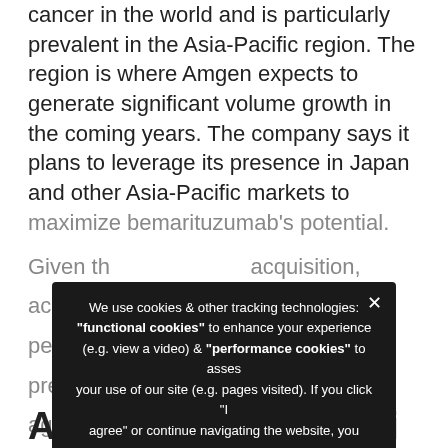cancer in the world and is particularly prevalent in the Asia-Pacific region. The region is where Amgen expects to generate significant volume growth in the coming years. The company says it plans to leverage its presence in Japan and other Asia-Pacific markets to maximize bemarituzumab's potential.
Given the acquisition, Amgen perceives from a pre-existing agreement with Zymeworks (Shanghai) Co., Ltd.
Amgen says adding Five Prime's innovative pipeline programs to its portfolio will bring meaningful therapies to oncology patients.
[Figure (screenshot): Cookie consent overlay dialog on dark background. Text reads: 'We use cookies & other tracking technologies: "functional cookies" to enhance your experience (e.g. view a video) & "performance cookies" to asses your use of our site (e.g. pages visited). If you click "I agree" or continue navigating the website, you agree to having those cookies set on your device. Otherwise, adjust your preferences to each cookie category by clicking "privacy preferences".' With a Privacy Preferences link and an 'I Agree' button.]
Amgen Halozyme Acqui...